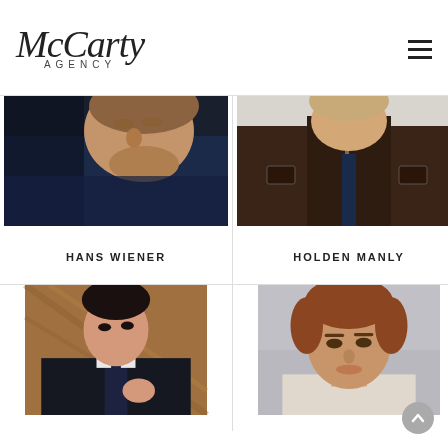McCarty Agency
[Figure (photo): Male model reclining, wearing blue knit sweater, close-up face shot]
[Figure (photo): Male model wearing dark brown leather jacket and navy tie, formal look]
HANS WIENER
HOLDEN MANLY
[Figure (photo): Asian male model in dark suit with patterned tie, adjusting watch or ring, wooden background]
[Figure (photo): Young male model with brown hair, grey background, head and shoulders shot]